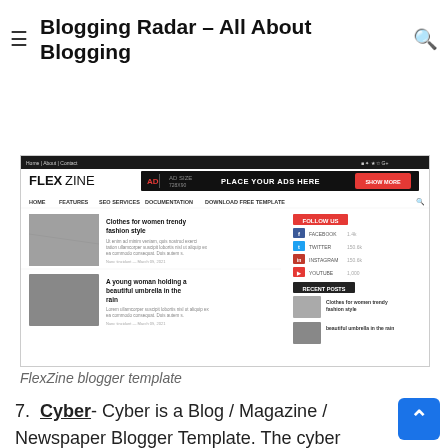Blogging Radar - All About Blogging
crafted template. This is a premium and highly customizable Blogger Theme, which can be used for every type of niche. It is a responsive template and looks awesome on mobile and tablet devices.
[Figure (screenshot): Screenshot of FlexZine blogger template showing logo, ad banner, navigation, two article previews with images, social follow sidebar, and recent posts sidebar]
FlexZine blogger template
7.  Cyber- Cyber is a Blog / Magazine / Newspaper Blogger Template. The cyber template has the ability to give you the tools you need to write and edit